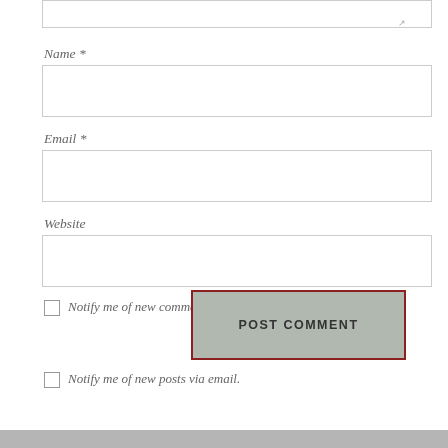Name *
Email *
Website
Notify me of new comments via email.
POST COMMENT
Notify me of new posts via email.